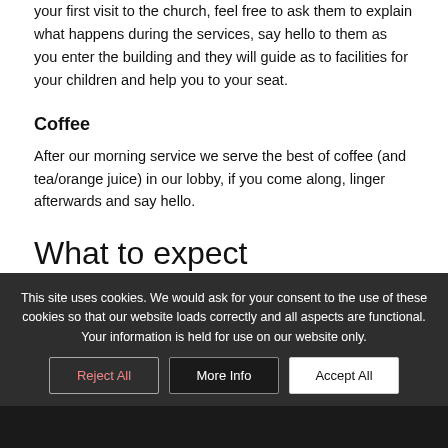Friendly Stewards are available in the lobby to assist if this is your first visit to the church, feel free to ask them to explain what happens during the services, say hello to them as you enter the building and they will guide as to facilities for your children and help you to your seat.
Coffee
After our morning service we serve the best of coffee (and tea/orange juice) in our lobby, if you come along, linger afterwards and say hello.
What to expect
This site uses cookies. We would ask for your consent to the use of these cookies so that our website loads correctly and all aspects are functional. Your information is held for use on our website only.